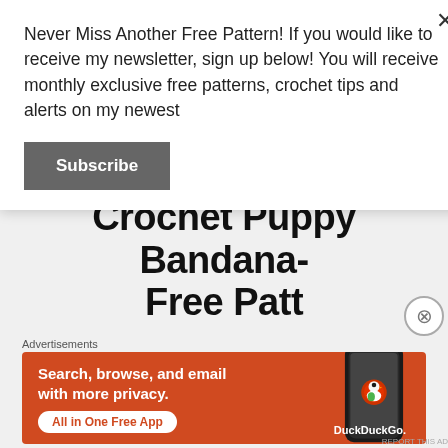[Figure (photo): Partial view of a puppy or dog, beige/golden fur, cropped at top]
June 27, 2019
Crochet Puppy Bandana- Free Patt...
Never Miss Another Free Pattern! If you would like to receive my newsletter, sign up below! You will receive monthly exclusive free patterns, crochet tips and alerts on my newest
Subscribe
Advertisements
[Figure (infographic): DuckDuckGo advertisement banner: orange background with phone mockup, text reads 'Search, browse, and email with more privacy.' and 'All in One Free App' with DuckDuckGo logo]